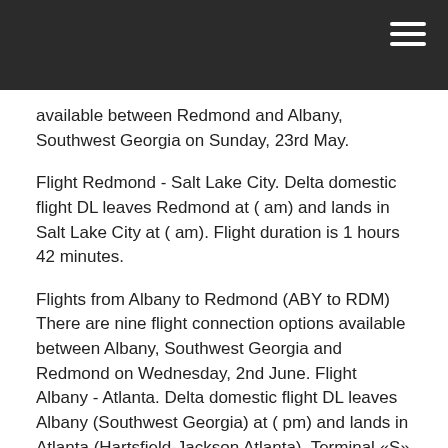available between Redmond and Albany, Southwest Georgia on Sunday, 23rd May.
Flight Redmond - Salt Lake City. Delta domestic flight DL leaves Redmond at ( am) and lands in Salt Lake City at ( am). Flight duration is 1 hours 42 minutes.
Flights from Albany to Redmond (ABY to RDM) There are nine flight connection options available between Albany, Southwest Georgia and Redmond on Wednesday, 2nd June. Flight Albany - Atlanta. Delta domestic flight DL leaves Albany (Southwest Georgia) at ( pm) and lands in Atlanta (Hartsfield-Jackson Atlanta), Terminal «S» at. Alaska Airlines Flights from Albany to Redmond (ALB to RDM) starting atAs COVID disrupts travel, a few airlines are offering WAIVING CHANGE FEE for...